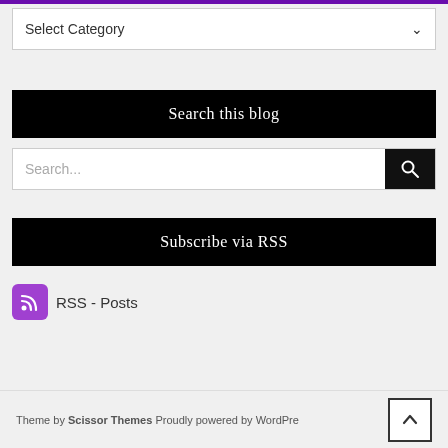Select Category
Search this blog
Search...
Subscribe via RSS
RSS - Posts
Theme by Scissor Themes Proudly powered by WordPress